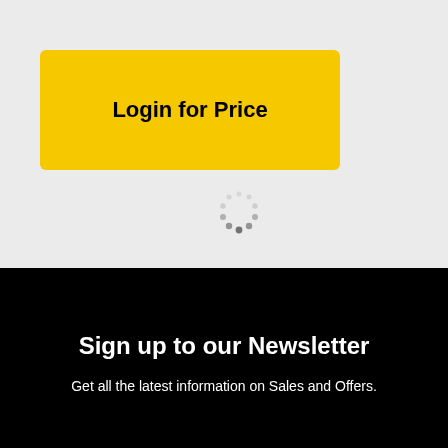[Figure (screenshot): Yellow 'Login for Price' button on a light grey background]
[Figure (other): Circular loading spinner graphic in grey dots]
Sign up to our Newsletter
Get all the latest information on Sales and Offers.